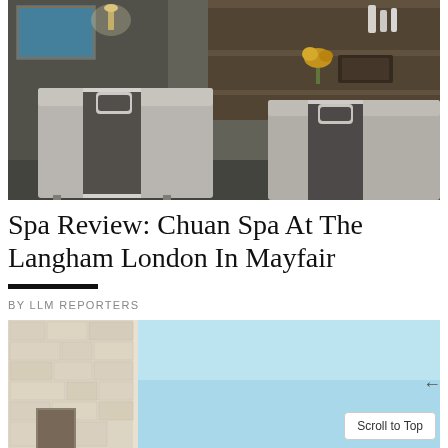[Figure (photo): Interior photo of a luxury spa treatment room with two massage tables draped in grey and white linens, wooden shelving with spa products in the background, warm wall sconce lighting, and a small yellow floral arrangement.]
Spa Review: Chuan Spa At The Langham London In Mayfair
BY LLM REPORTERS
[Figure (photo): Exterior photo of a building with light blue sky background and stone or textured white wall visible on the left side, partially cropped.]